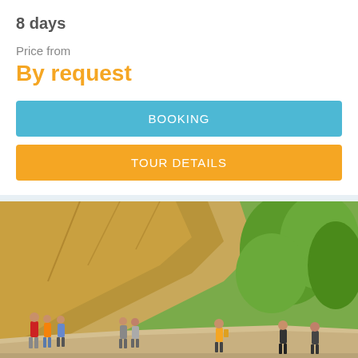8 days
Price from
By request
BOOKING
TOUR DETAILS
[Figure (photo): Group of tourists hiking along a rocky cliff path surrounded by green trees]